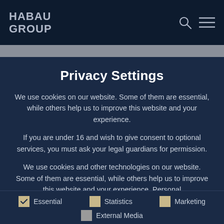HABAU GROUP
Privacy Settings
We use cookies on our website. Some of them are essential, while others help us to improve this website and your experience.
If you are under 16 and wish to give consent to optional services, you must ask your legal guardians for permission.
We use cookies and other technologies on our website. Some of them are essential, while others help us to improve this website and your experience. Personal
Essential
Statistics
Marketing
External Media